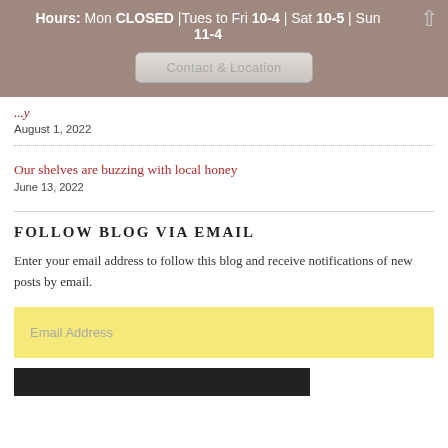Hours: Mon CLOSED | Tues to Fri 10-4 | Sat 10-5 | Sun 11-4
Contact & Location
August 1, 2022
Our shelves are buzzing with local honey
June 13, 2022
FOLLOW BLOG VIA EMAIL
Enter your email address to follow this blog and receive notifications of new posts by email.
Email Address